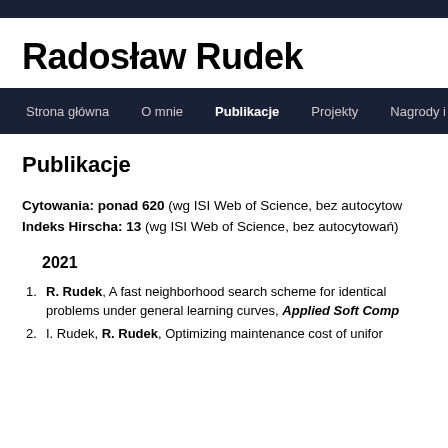Radosław Rudek
Strona główna | O mnie | Publikacje | Projekty | Nagrody i wyróż
Publikacje
Cytowania: ponad 620 (wg ISI Web of Science, bez autocytow... Indeks Hirscha: 13 (wg ISI Web of Science, bez autocytowań)
2021
R. Rudek, A fast neighborhood search scheme for identical problems under general learning curves, Applied Soft Comp...
I. Rudek, R. Rudek, Optimizing maintenance cost of unifor...